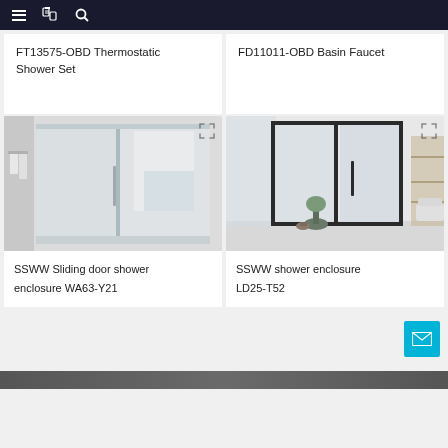Navigation bar with menu, catalog, and search icons
FT13575-OBD Thermostatic Shower Set
FD11011-OBD Basin Faucet
[Figure (photo): SSWW Sliding door shower enclosure WA63-Y21 - white sliding glass shower door in a bright bathroom with towel rack]
[Figure (photo): SSWW shower enclosure LD25-T52 - black framed frosted glass shower enclosure with plant and toilet visible]
SSWW Sliding door shower enclosure WA63-Y21
SSWW shower enclosure LD25-T52